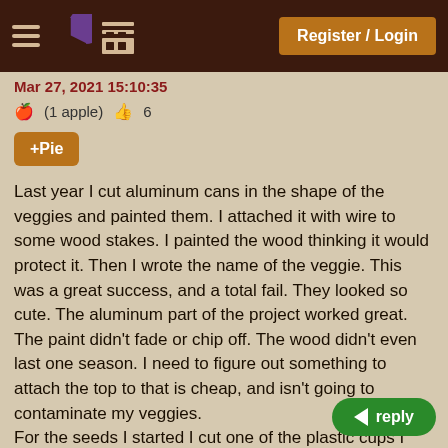Register / Login
Mar 27, 2021 15:10:35
(1 apple)  6
+Pie
Last year I cut aluminum cans in the shape of the veggies and painted them.  I attached it with wire to some wood stakes. I painted the wood thinking it would protect it. Then I wrote the name of the veggie.  This was a great success, and a total fail.  They looked so cute. The aluminum part of the project worked great. The paint didn't fade or chip off.  The wood didn't even last one season.   I need to figure out something to attach the top to that is cheap, and isn't going to contaminate my veggies.
For the seeds I started I cut one of the plastic cups I plant in, and wrote on it with a permanent marker.  I can't read it at all.  So much for being pe have to try the blind and tape trick.
It's a bummer. Usually when I share my extras I give a
reply